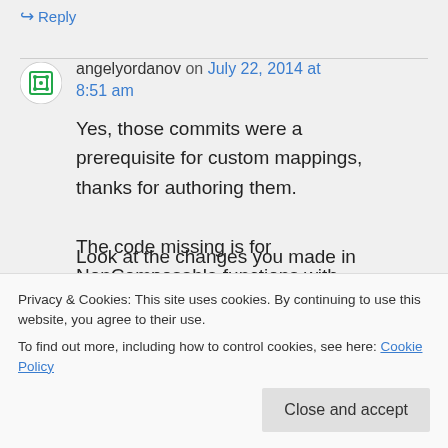↪ Reply
angelyordanov on July 22, 2014 at 8:51 am
Yes, those commits were a prerequisite for custom mappings, thanks for authoring them.

The code missing is for NonComposable functions with
Look at the changes you made in
Privacy & Cookies: This site uses cookies. By continuing to use this website, you agree to their use.
To find out more, including how to control cookies, see here: Cookie Policy